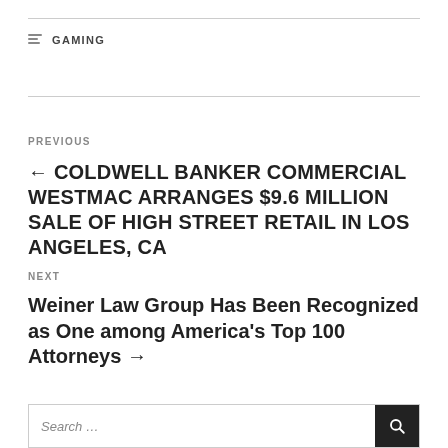GAMING
← COLDWELL BANKER COMMERCIAL WESTMAC ARRANGES $9.6 MILLION SALE OF HIGH STREET RETAIL IN LOS ANGELES, CA
Weiner Law Group Has Been Recognized as One among America's Top 100 Attorneys →
Search …